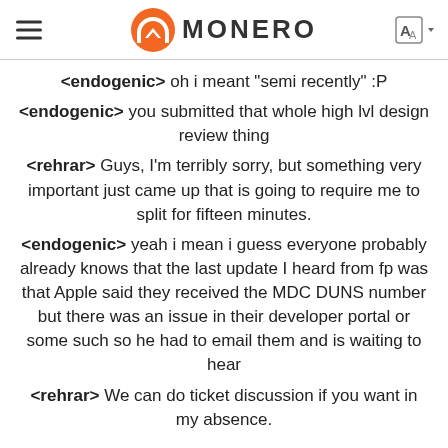MONERO
<endogenic> oh i meant "semi recently" :P
<endogenic> you submitted that whole high lvl design review thing
<rehrar> Guys, I'm terribly sorry, but something very important just came up that is going to require me to split for fifteen minutes.
<endogenic> yeah i mean i guess everyone probably already knows that the last update I heard from fp was that Apple said they received the MDC DUNS number but there was an issue in their developer portal or some such so he had to email them and is waiting to hear
<rehrar> We can do ticket discussion if you want in my absence.